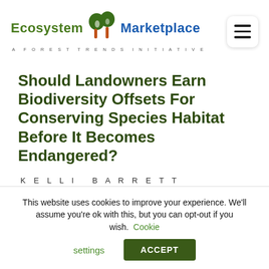[Figure (logo): Ecosystem Marketplace logo — A Forest Trends Initiative, with tree icon between the two words]
Should Landowners Earn Biodiversity Offsets For Conserving Species Habitat Before It Becomes Endangered?
KELLI BARRETT
This website uses cookies to improve your experience. We'll assume you're ok with this, but you can opt-out if you wish. Cookie settings ACCEPT